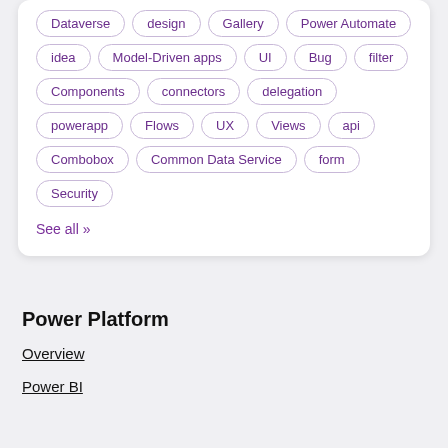Dataverse
design
Gallery
Power Automate
idea
Model-Driven apps
UI
Bug
filter
Components
connectors
delegation
powerapp
Flows
UX
Views
api
Combobox
Common Data Service
form
Security
See all >>
Power Platform
Overview
Power BI